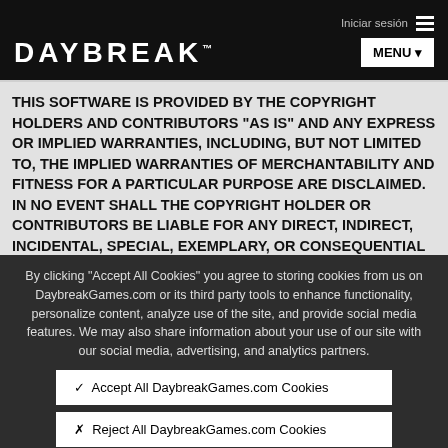notice this list of conditions and the following disclaimer. Documentation and/or other materials provided with
[Figure (screenshot): Daybreak Games website navigation bar with logo and MENU button on black background]
THIS SOFTWARE IS PROVIDED BY THE COPYRIGHT HOLDERS AND CONTRIBUTORS "AS IS" AND ANY EXPRESS OR IMPLIED WARRANTIES, INCLUDING, BUT NOT LIMITED TO, THE IMPLIED WARRANTIES OF MERCHANTABILITY AND FITNESS FOR A PARTICULAR PURPOSE ARE DISCLAIMED. IN NO EVENT SHALL THE COPYRIGHT HOLDER OR CONTRIBUTORS BE LIABLE FOR ANY DIRECT, INDIRECT, INCIDENTAL, SPECIAL, EXEMPLARY, OR CONSEQUENTIAL DAMAGES (INCLUDING,
By clicking "Accept All Cookies" you agree to storing cookies from us on DaybreakGames.com or its third party tools to enhance functionality, personalize content, analyze use of the site, and provide social media features. We may also share information about your use of our site with our social media, advertising, and analytics partners.
✓  Accept All DaybreakGames.com Cookies
✗  Reject All DaybreakGames.com Cookies
Personalize DaybreakGames.com Cookies
Cookie Policy